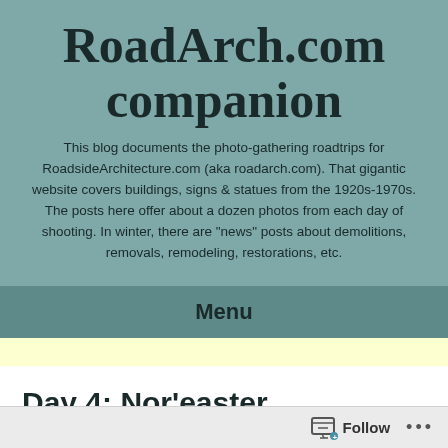RoadArch.com companion
This blog documents the photo-gathering roadtrips for RoadsideArchitecture.com (aka roadarch.com). That gigantic website covers buildings, signs & statues from the 1920s-1970s. The posts here offer about a dozen photos from each day of shooting. In winter, there are "news" posts about demolitions, removals, remodeling, restorations, etc.
Menu
Day 4: Nor'easter Interruptus